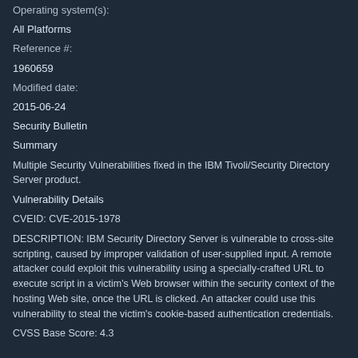Operating system(s):
All Platforms
Reference #:
1960659
Modified date:
2015-06-24
Security Bulletin
Summary
Multiple Security Vulnerabilities fixed in the IBM Tivoli/Security Directory Server product.
Vulnerability Details
CVEID: CVE-2015-1978
DESCRIPTION: IBM Security Directory Server is vulnerable to cross-site scripting, caused by improper validation of user-supplied input. A remote attacker could exploit this vulnerability using a specially-crafted URL to execute script in a victim's Web browser within the security context of the hosting Web site, once the URL is clicked. An attacker could use this vulnerability to steal the victim's cookie-based authentication credentials.
CVSS Base Score: 4.3